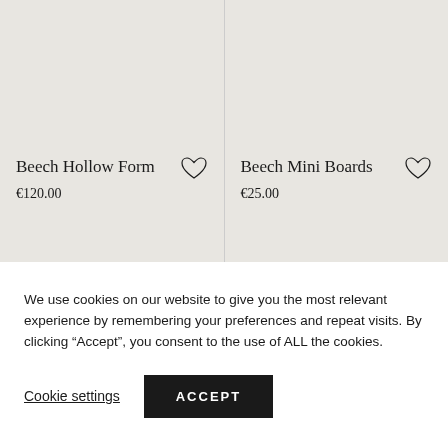Beech Hollow Form
€120.00
Beech Mini Boards
€25.00
We use cookies on our website to give you the most relevant experience by remembering your preferences and repeat visits. By clicking “Accept”, you consent to the use of ALL the cookies.
Cookie settings
ACCEPT